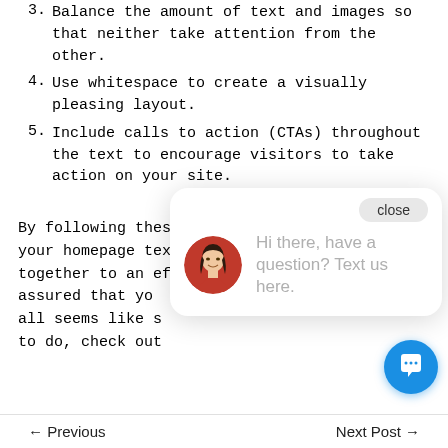3. Balance the amount of text and images so that neither take attention from the other.
4. Use whitespace to create a visually pleasing layout.
5. Include calls to action (CTAs) throughout the text to encourage visitors to take action on your site.
By following these tips, you can be sure that your homepage text and images will work together to an effective and [obscured by popup] assured that yo[obscured] all seems like s[obscured] to do, check out[obscured]
[Figure (screenshot): Chat popup overlay with close button and avatar of a woman with message: Hi there, have a question? Text us here.]
[Figure (screenshot): Blue circular chat FAB button with speech bubble icon, bottom right corner]
← Previous    Next Post →